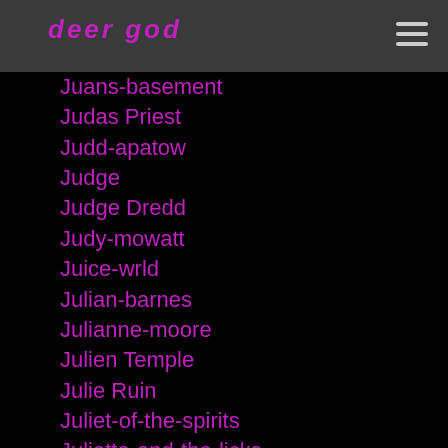deer god
Juans-basement
Judas Priest
Judd-apatow
Judge
Judge Dredd
Judy-mowatt
Juice-wrld
Julian-barnes
Julianne-moore
Julien Temple
Julie Ruin
Juliet-of-the-spirits
Juliette-and-the-licks
Jungle Brothers
Junkie
Jurgen-klopp
Justine Frischmann